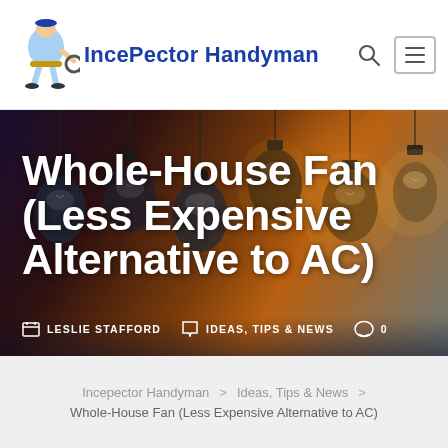IncePector Handyman
Whole-House Fan (Less Expensive Alternative to AC)
LESLIE STAFFORD   IDEAS, TIPS & NEWS   0
Incepector Handyman > Ideas, Tips & News > Whole-House Fan (Less Expensive Alternative to AC)